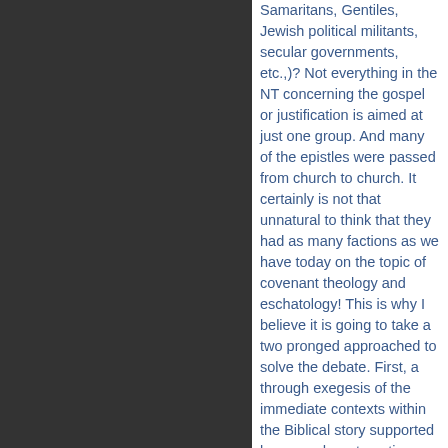Samaritans, Gentiles, Jewish political militants, secular governments, etc.,)? Not everything in the NT concerning the gospel or justification is aimed at just one group. And many of the epistles were passed from church to church. It certainly is not that unnatural to think that they had as many factions as we have today on the topic of covenant theology and eschatology! This is why I believe it is going to take a two pronged approached to solve the debate. First, a through exegesis of the immediate contexts within the Biblical story supported by second, systematic formulation of doctrines that are harvested as we go along (allowing the texts to form and reform our understanding as each sheds more light on the other). Extra biblical data is useful but cannot be the controlling force behind all our interpretations.